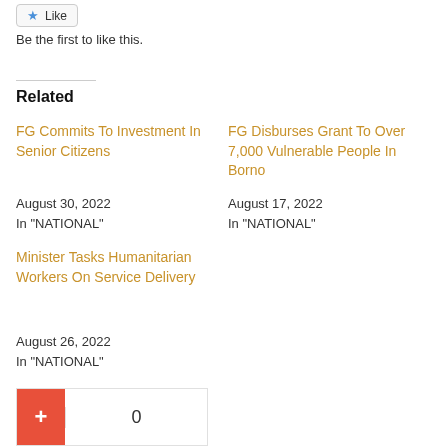Like
Be the first to like this.
Related
FG Commits To Investment In Senior Citizens
August 30, 2022
In "NATIONAL"
FG Disburses Grant To Over 7,000 Vulnerable People In Borno
August 17, 2022
In "NATIONAL"
Minister Tasks Humanitarian Workers On Service Delivery
August 26, 2022
In "NATIONAL"
0